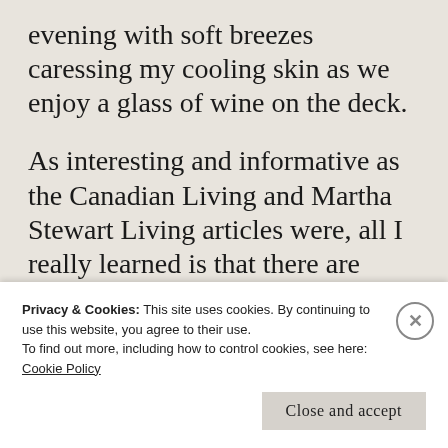evening with soft breezes caressing my cooling skin as we enjoy a glass of wine on the deck.
As interesting and informative as the Canadian Living and Martha Stewart Living articles were, all I really learned is that there are people out there who are willing to pay ridiculous prices for something just so they can say they
Privacy & Cookies: This site uses cookies. By continuing to use this website, you agree to their use.
To find out more, including how to control cookies, see here: Cookie Policy